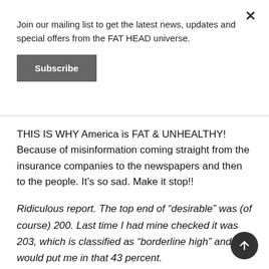Join our mailing list to get the latest news, updates and special offers from the FAT HEAD universe.
Subscribe
THIS IS WHY America is FAT & UNHEALTHY! Because of misinformation coming straight from the insurance companies to the newspapers and then to the people. It’s so sad. Make it stop!!
Ridiculous report. The top end of “desirable” was (of course) 200. Last time I had mine checked it was 203, which is classified as “borderline high” and would put me in that 43 percent.
Average cholesterol around the world is about 220.